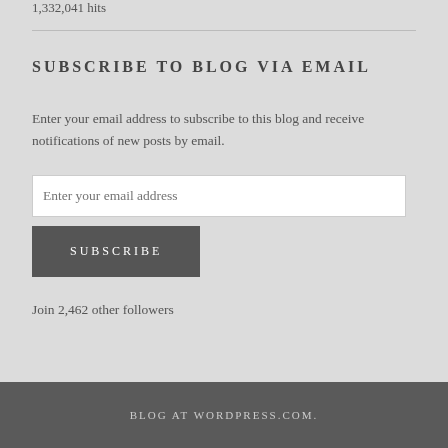1,332,041 hits
SUBSCRIBE TO BLOG VIA EMAIL
Enter your email address to subscribe to this blog and receive notifications of new posts by email.
Enter your email address
SUBSCRIBE
Join 2,462 other followers
BLOG AT WORDPRESS.COM.